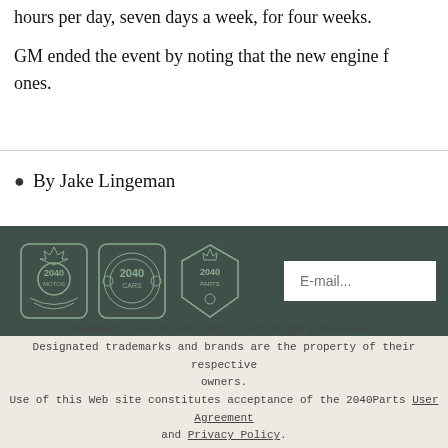hours per day, seven days a week, for four weeks.
GM ended the event by noting that the new engine f... ones.
By Jake Lingeman
[Figure (logo): 2040Parts.com brand logos for 2040-Motos, 2040-Cars, and 2040-Parts on dark green banner background, with an email input field]
2040Parts.com © 2012-2022. All Rights Reserved. Designated trademarks and brands are the property of their respective owners. Use of this Web site constitutes acceptance of the 2040Parts User Agreement and Privacy Policy. 0.154 s, 9834 u